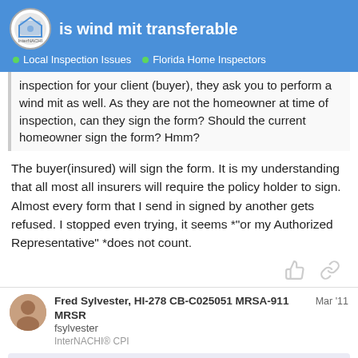is wind mit transferable — Local Inspection Issues · Florida Home Inspectors
inspection for your client (buyer), they ask you to perform a wind mit as well. As they are not the homeowner at time of inspection, can they sign the form? Should the current homeowner sign the form? Hmm?
The buyer(insured) will sign the form. It is my understanding that all most all insurers will require the policy holder to sign. Almost every form that I send in signed by another gets refused. I stopped even trying, it seems *"or my Authorized Representative" *does not count.
Fred Sylvester, HI-278 CB-C025051 MRSA-911 MRSR Mar '11
fsylvester
InterNACHI® CPI
jshishilla:
No the current form must be signed by t